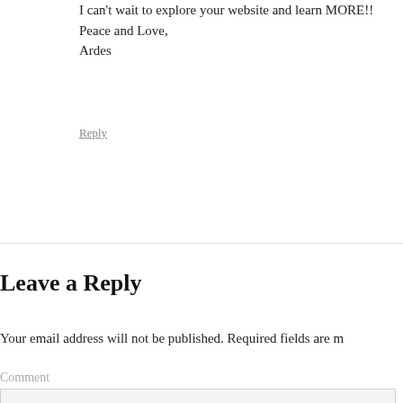I can't wait to explore your website and learn MORE!!
Peace and Love,
Ardes
Reply
Leave a Reply
Your email address will not be published. Required fields are m
Comment